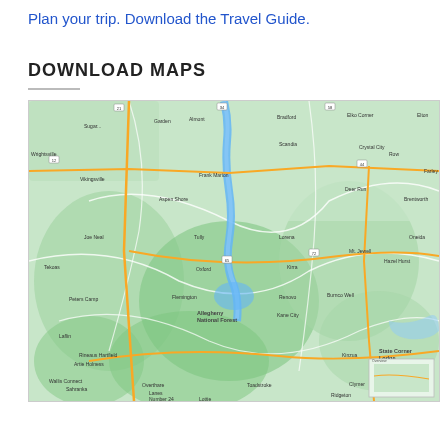Plan your trip. Download the Travel Guide.
DOWNLOAD MAPS
[Figure (map): Regional road map showing towns, highways, national forests, and geographic features in green tones with yellow roads and blue water bodies.]